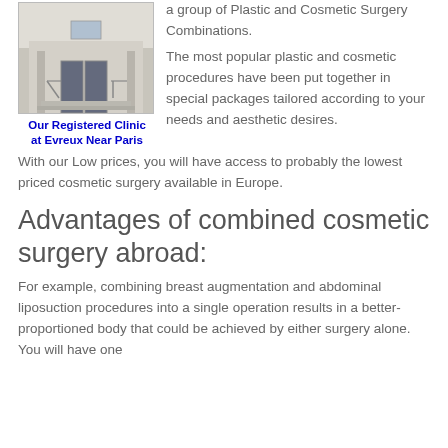[Figure (photo): Exterior photo of the registered clinic at Evreux Near Paris — a building entrance with glass doors and railings]
Our Registered Clinic at Evreux Near Paris
a group of Plastic and Cosmetic Surgery Combinations.
The most popular plastic and cosmetic procedures have been put together in special packages tailored according to your needs and aesthetic desires. With our Low prices, you will have access to probably the lowest priced cosmetic surgery available in Europe.
Advantages of combined cosmetic surgery abroad:
For example, combining breast augmentation and abdominal liposuction procedures into a single operation results in a better-proportioned body that could be achieved by either surgery alone.  You will have one